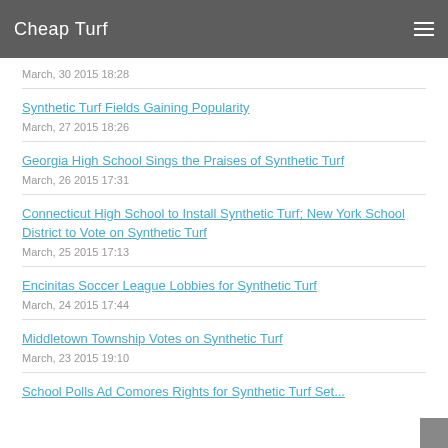Cheap Turf
March, 30 2015 18:28
Synthetic Turf Fields Gaining Popularity
March, 27 2015 18:26
Georgia High School Sings the Praises of Synthetic Turf
March, 26 2015 17:31
Connecticut High School to Install Synthetic Turf; New York School District to Vote on Synthetic Turf
March, 25 2015 17:13
Encinitas Soccer League Lobbies for Synthetic Turf
March, 24 2015 17:44
Middletown Township Votes on Synthetic Turf
March, 23 2015 19:10
School Polls Ad Comores Rights for Synthetic Turf Set...